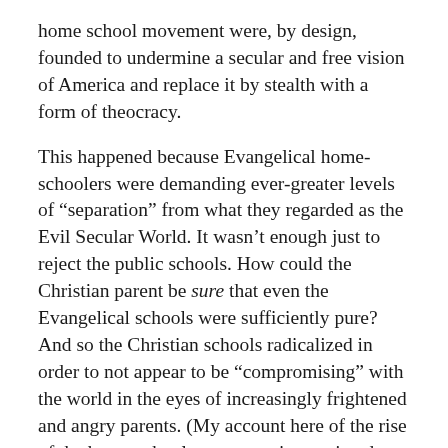home school movement were, by design, founded to undermine a secular and free vision of America and replace it by stealth with a form of theocracy.
This happened because Evangelical home-schoolers were demanding ever-greater levels of “separation” from what they regarded as the Evil Secular World. It wasn’t enough just to reject the public schools. How could the Christian parent be sure that even the Evangelical schools were sufficiently pure? And so the Christian schools radicalized in order to not appear to be “compromising” with the world in the eyes of increasingly frightened and angry parents. (My account here of the rise of the home school movement is not aimed at home-schooling, per se, but at parents who want to indoctrinate, rather than educate.)
The Evangelical home school movement was really founded by two people: Rousas Rushdoony, the